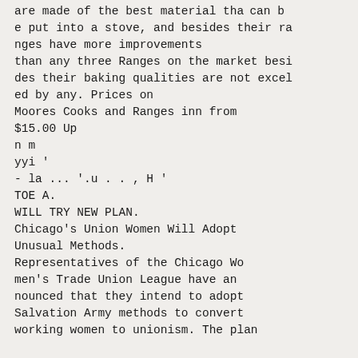are made of the best material tha  can be put into a stove, and besides their ranges have more improvements than any three Ranges on the market besides their baking qualities are not exceled by any. Prices on Moores Cooks and Ranges inn from $15.00 Up
n m
yyi '
- la ... '.u . . , H '
TOE A.
WILL TRY NEW PLAN.
Chicago's Union Women Will Adopt Unusual Methods.
Representatives of the Chicago Women's Trade Union League have announced that they intend to adopt Salvation Army methods to convert working women to unionism. The plan